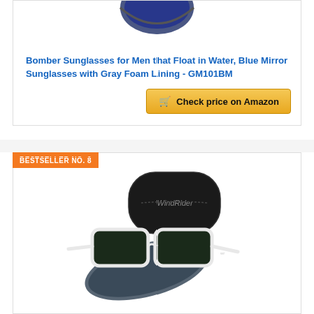[Figure (photo): Bomber sunglasses with blue mirror lenses, partially cropped at top]
Bomber Sunglasses for Men that Float in Water, Blue Mirror Sunglasses with Gray Foam Lining - GM101BM
[Figure (other): Check price on Amazon button with shopping cart icon]
BESTSELLER NO. 8
[Figure (photo): WindRider white frame sunglasses with dark lenses, black case and cleaning cloth]